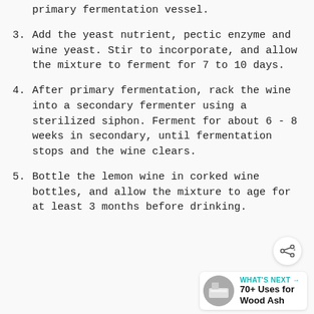primary fermentation vessel.
3. Add the yeast nutrient, pectic enzyme and wine yeast. Stir to incorporate, and allow the mixture to ferment for 7 to 10 days.
4. After primary fermentation, rack the wine into a secondary fermenter using a sterilized siphon. Ferment for about 6 - 8 weeks in secondary, until fermentation stops and the wine clears.
5. Bottle the lemon wine in corked wine bottles, and allow the mixture to age for at least 3 months before drinking.